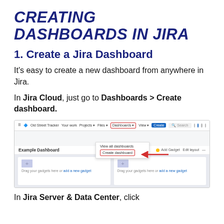CREATING DASHBOARDS IN JIRA
1. Create a Jira Dashboard
It’s easy to create a new dashboard from anywhere in Jira.
In Jira Cloud, just go to Dashboards > Create dashboard.
[Figure (screenshot): Screenshot of Jira Cloud interface showing the Dashboards navigation menu expanded with a 'View all dashboards' option and a 'Create dashboard' option highlighted with a red border and red arrow pointing to it. Below shows the Example Dashboard page with two empty gadget panels.]
In Jira Server & Data Center, click